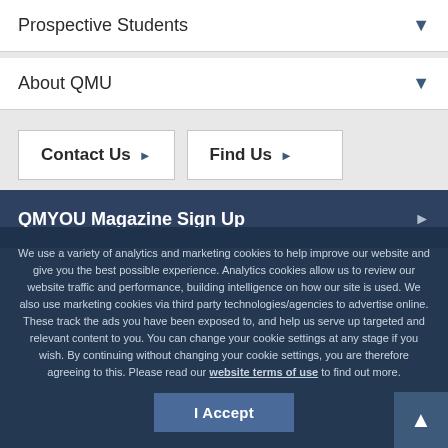Prospective Students
About QMU
Contact Us
Find Us
QMYOU Magazine Sign Up
We use a variety of analytics and marketing cookies to help improve our website and give you the best possible experience. Analytics cookies allow us to review our website traffic and performance, building intelligence on how our site is used. We also use marketing cookies via third party technologies/agencies to advertise online. These track the ads you have been exposed to, and help us serve up targeted and relevant content to you. You can change your cookie settings at any stage if you wish. By continuing without changing your cookie settings, you are therefore agreeing to this. Please read our website terms of use to find out more.
I Accept